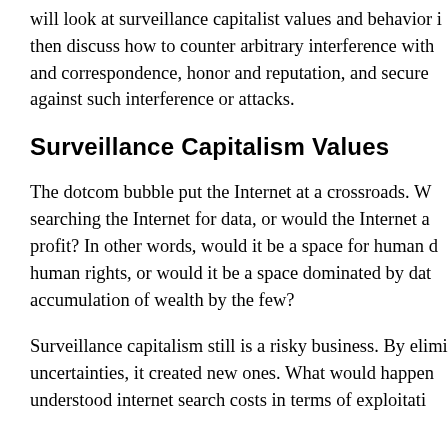will look at surveillance capitalist values and behavior i then discuss how to counter arbitrary interference with and correspondence, honor and reputation, and secure against such interference or attacks.
Surveillance Capitalism Values
The dotcom bubble put the Internet at a crossroads. W searching the Internet for data, or would the Internet a profit? In other words, would it be a space for human d human rights, or would it be a space dominated by dat accumulation of wealth by the few?
Surveillance capitalism still is a risky business. By elimi uncertainties, it created new ones. What would happen understood internet search costs in terms of exploitati